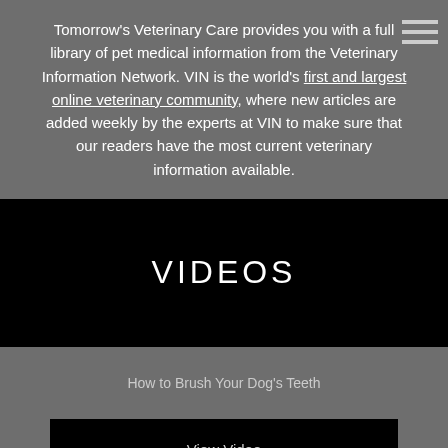Tomorrow's Veterinary Care provides you with a full library of pet medical information from the Veterinary Information Network. VIN is the world's first and largest online veterinary community, where new articles are added weekly by the experts at VIN to make sure that our readers have the most current veterinary information available.
VIDEOS
How to Brush Your Dog's Teeth
View Video